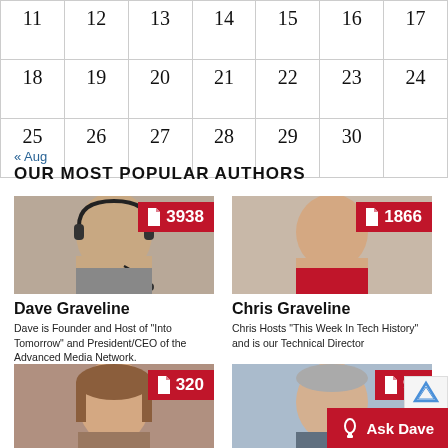|  |  |  |  |  |  |  |
| --- | --- | --- | --- | --- | --- | --- |
| 11 | 12 | 13 | 14 | 15 | 16 | 17 |
| 18 | 19 | 20 | 21 | 22 | 23 | 24 |
| 25 | 26 | 27 | 28 | 29 | 30 |  |
« Aug
OUR MOST POPULAR AUTHORS
[Figure (photo): Dave Graveline headshot with headset, red background badge showing document icon and 3938]
Dave Graveline
Dave is Founder and Host of "Into Tomorrow" and President/CEO of the Advanced Media Network.
[Figure (photo): Chris Graveline headshot in red shirt, red background badge showing document icon and 1866]
Chris Graveline
Chris Hosts "This Week In Tech History" and is our Technical Director
[Figure (photo): Female author headshot, red background badge showing document icon and 320]
[Figure (photo): Male author headshot, red background badge showing document icon and 93]
Ask Dave